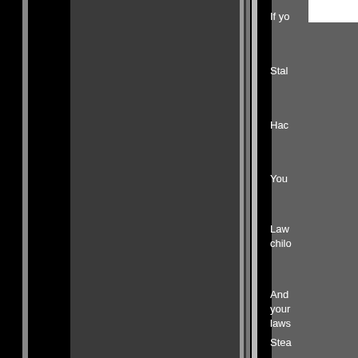[Figure (other): Dark background with vertical striped columns in black and dark gray, forming a decorative panel layout. A white rectangle appears at top right.]
If yo
Stal
Hac
You
Law child
And your laws
Stea